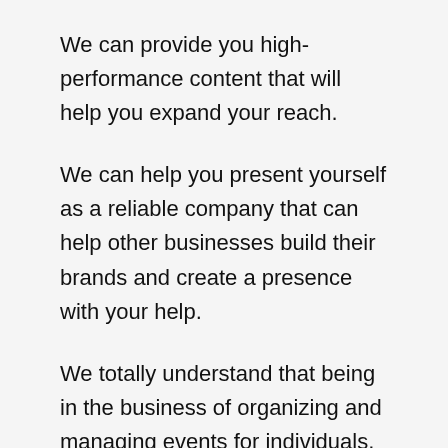We can provide you high-performance content that will help you expand your reach.
We can help you present yourself as a reliable company that can help other businesses build their brands and create a presence with your help.
We totally understand that being in the business of organizing and managing events for individuals, businesses and companies, you have to convey a highly professional image of yourself to your prospective clients.